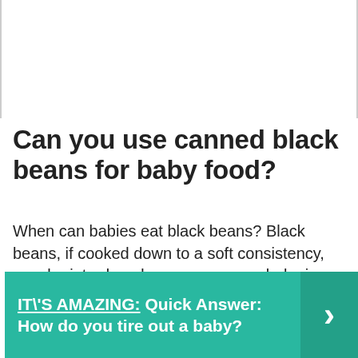Can you use canned black beans for baby food?
When can babies eat black beans? Black beans, if cooked down to a soft consistency, may be introduced as soon as your baby is ready to start solids, which is generally around 6 months of age.
IT\'S AMAZING:  Quick Answer: How do you tire out a baby?